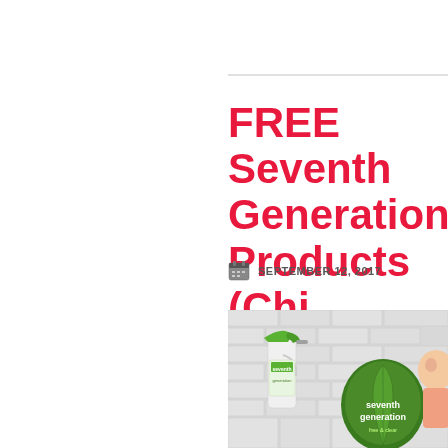FREE Seventh Generation Products (Chi...
SEPTEMBER 12, 2017
[Figure (photo): Seventh Generation cleaning products including a spray bottle with green trigger and a 'seventh generation free & clear' package, with a child visible on the right, set against a light brick wall background.]